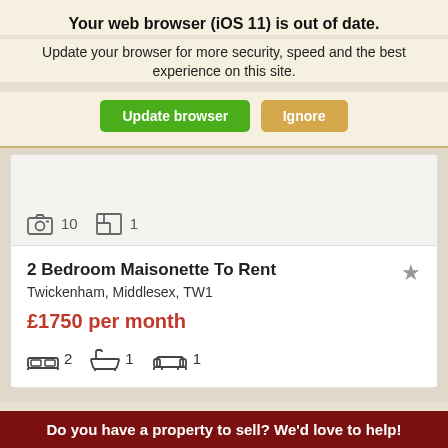Your web browser (iOS 11) is out of date.
Update your browser for more security, speed and the best experience on this site.
Update browser   Ignore
[Figure (screenshot): Property image thumbnail area showing photo count icon (10) and floorplan count icon (1)]
2 Bedroom Maisonette To Rent
Twickenham, Middlesex, TW1
£1750 per month
2 bedrooms, 1 bathroom, 1 reception
Do you have a property to sell? We'd love to help!